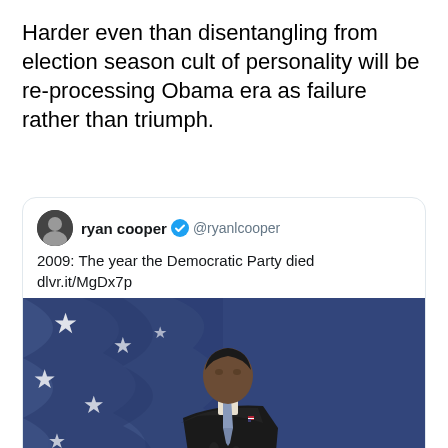Harder even than disentangling from election season cult of personality will be re-processing Obama era as failure rather than triumph.
[Figure (screenshot): Embedded tweet by @ryanlcooper with text '2009: The year the Democratic Party died dlvr.it/MgDx7p' and a photo of Barack Obama in front of an American flag, posted 3:53 PM · Nov 15, 2016]